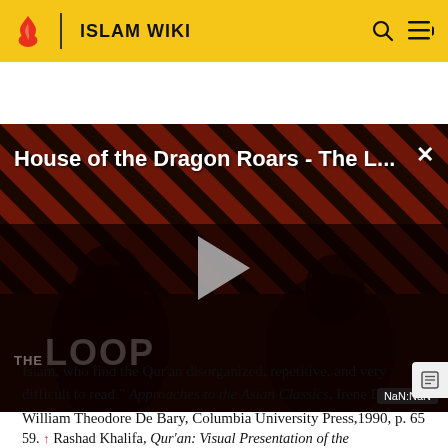ISLAM WIKI
[Figure (screenshot): Video thumbnail overlay with diagonal red/black stripes, title 'House of the Dragon Roars - The L...', a play button in center, 'THE LOOP' text at bottom left, 'NaN:NaN' timer badge at bottom right, and a close (×) button at top right. Two silhouetted figures visible.]
Islam, who find the Qur'an disorganized, repetitive, and very difficult to read." Approaches to the Asian Classics, Irene Blomm, William Theodore De Bary, Columbia University Press,1990, p. 65
59. ↑ Rashad Khalifa, Qur'an: Visual Presentation of the